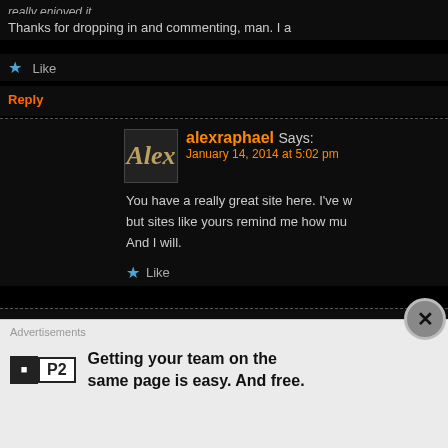really enjoyed it...
Thanks for dropping in and commenting, man. I a
Like
Reply
alexraphael Says:
January 14, 2014 at 5:02 pm
You have a really great site here. I've w but sites like yours remind me how mu And I will.
Like
Mark Walker Says:
January 14, 2014 at 6:03 pm
You're too kind, my friend. Too kind! It's someone stop by and roam about, so th you have a review if American Hustle y little later and have look. You should do very addictive but ultimately it's a
Advertisements
Getting your team on the same page is easy. And free.